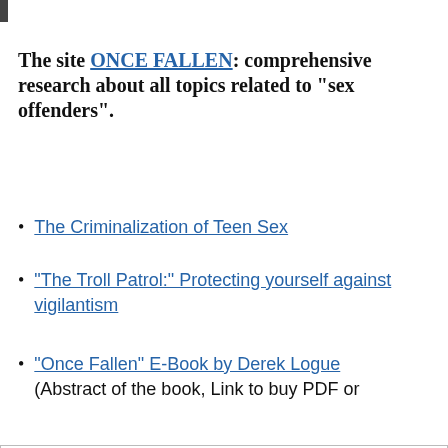The site ONCE FALLEN: comprehensive research about all topics related to "sex offenders".
The Criminalization of Teen Sex
“The Troll Patrol:” Protecting yourself against vigilantism
“Once Fallen” E-Book by Derek Logue (Abstract of the book, Link to buy PDF or
Privacy & Cookies: This site uses cookies. By continuing to use this website, you agree to their use.
To find out more, including how to control cookies, see here:
Cookie Policy
Close and accept
Most of them got bad grades for